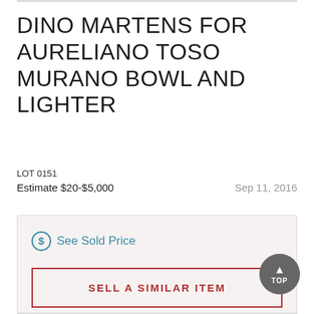DINO MARTENS FOR AURELIANO TOSO MURANO BOWL AND LIGHTER
LOT 0151
Estimate $20-$5,000    Sep 11, 2016
See Sold Price
SELL A SIMILAR ITEM